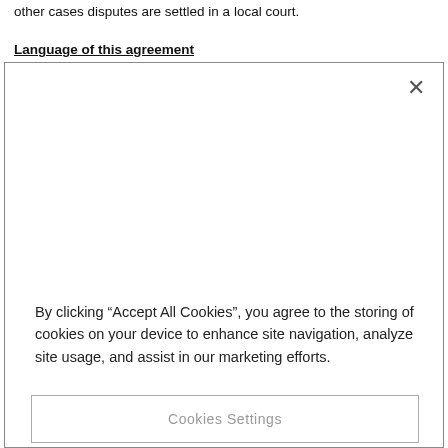other cases disputes are settled in a local court.
Language of this agreement
[Figure (screenshot): Cookie consent modal dialog with close button (×), descriptive text about cookies, and three buttons: Cookies Settings, Reject All, and Accept All Cookies (partially visible).]